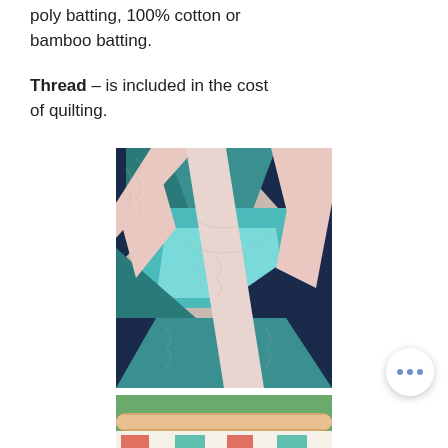poly batting,  100% cotton or bamboo batting.
Thread – is included in the cost of quilting.
[Figure (photo): Close-up photo of a quilted fabric with geometric triangle pattern in teal, dark navy, and light pink colors with visible quilting stitches.]
[Figure (photo): Photo of a colorful patchwork quilt loaded on a longarm quilting frame/machine, showing coral, teal, and white fabric pieces.]